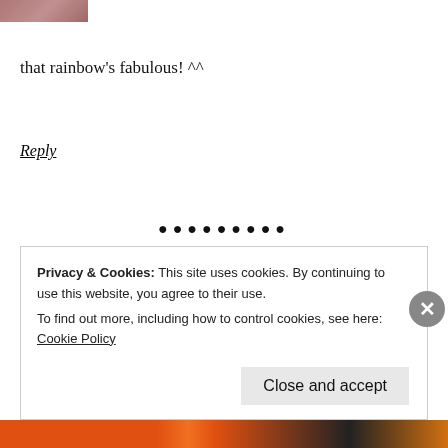[Figure (photo): Partial cropped avatar image at top left, showing bottom portion of a person's face/hair]
that rainbow's fabulous! ^^
Reply
• • • • • • • • •
[Figure (photo): Avatar of Marianne - stylized colorful photo with yellow/blue/orange tones]
Marianne
April 6, 2013 at 10:43 pm
Privacy & Cookies: This site uses cookies. By continuing to use this website, you agree to their use.
To find out more, including how to control cookies, see here: Cookie Policy
Close and accept